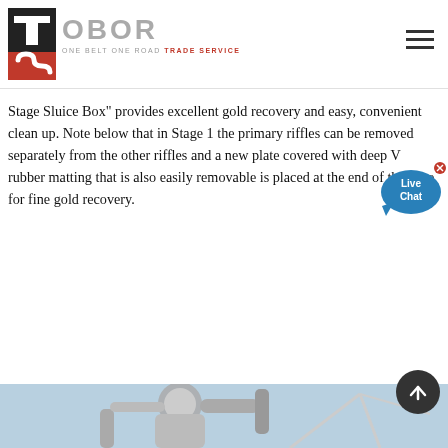OBOR ONE BELT ONE ROAD TRADE SERVICE
Stage Sluice Box" provides excellent gold recovery and easy, convenient clean up. Note below that in Stage 1 the primary riffles can be removed separately from the other riffles and a new plate covered with deep V rubber matting that is also easily removable is placed at the end of the flare for fine gold recovery.
[Figure (photo): Bottom portion of page showing industrial metal piping/equipment against a blue sky background]